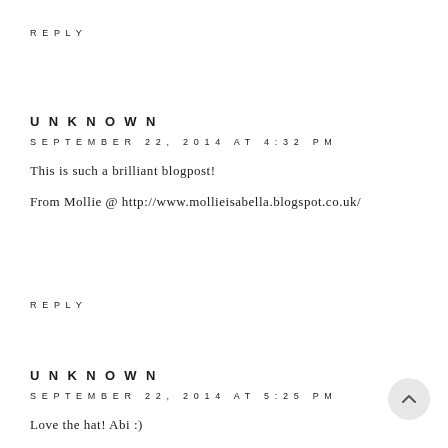REPLY
UNKNOWN
SEPTEMBER 22, 2014 AT 4:32 PM
This is such a brilliant blogpost!
From Mollie @ http://www.mollieisabella.blogspot.co.uk/
REPLY
UNKNOWN
SEPTEMBER 22, 2014 AT 5:25 PM
Love the hat! Abi :)